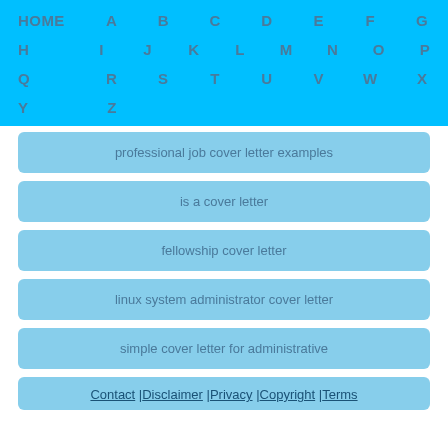HOME A B C D E F G H I J K L M N O P Q R S T U V W X Y Z
professional job cover letter examples
is a cover letter
fellowship cover letter
linux system administrator cover letter
simple cover letter for administrative
Contact | Disclaimer | Privacy | Copyright | Terms | Sitemap